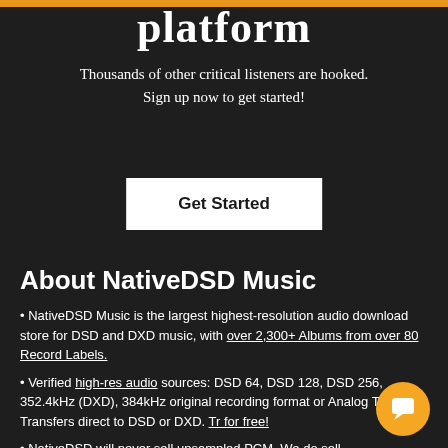platform
Thousands of other critical listeners are hooked. Sign up now to get started!
Get Started
About NativeDSD Music
NativeDSD Music is the largest highest-resolution audio download store for DSD and DXD music, with over 2,300+ Albums from over 80 Record Labels.
Verified high-res audio sources: DSD 64, DSD 128, DSD 256, 352.4kHz (DXD), 384kHz original recording format or Analog Tape Transfers direct to DSD or DXD. Try for free!
NativeDSD will never sell upsampled PCM. We do sell